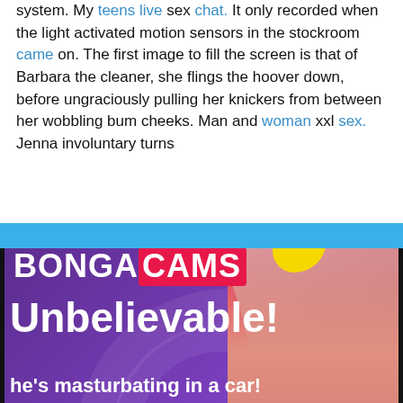system. My teens live sex chat. It only recorded when the light activated motion sensors in the stockroom came on. The first image to fill the screen is that of Barbara the cleaner, she flings the hoover down, before ungraciously pulling her knickers from between her wobbling bum cheeks. Man and woman xxl sex. Jenna involuntary turns
[Figure (infographic): BongaCams advertisement banner with purple background, brand name BONGACAMS in white and red, headline 'Unbelievable!', subtext 'he's masturbating in a car!', yellow 'WATCH HER ONLINE' button, and photo on right side. Surrounded by blue bars and black border.]
[Figure (photo): Bottom partial image showing skin tones and red background, partially cropped]